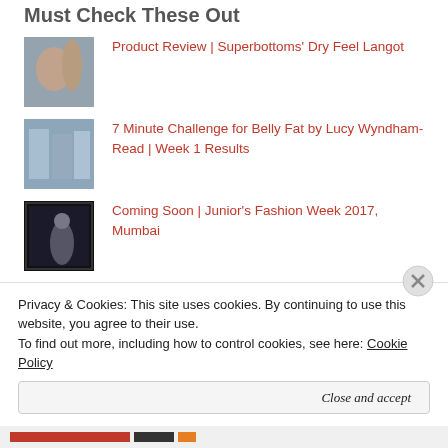Must Check These Out
Product Review | Superbottoms' Dry Feel Langot
7 Minute Challenge for Belly Fat by Lucy Wyndham-Read | Week 1 Results
Coming Soon | Junior's Fashion Week 2017, Mumbai
101 Excuses I can make, now that I have a Baby
Nourish, Nurture & Flourish
Privacy & Cookies: This site uses cookies. By continuing to use this website, you agree to their use. To find out more, including how to control cookies, see here: Cookie Policy
Close and accept